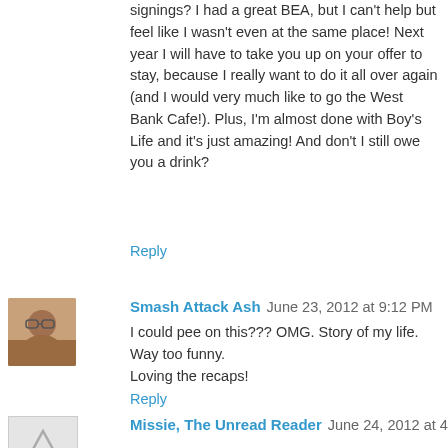signings? I had a great BEA, but I can't help but feel like I wasn't even at the same place! Next year I will have to take you up on your offer to stay, because I really want to do it all over again (and I would very much like to go the West Bank Cafe!). Plus, I'm almost done with Boy's Life and it's just amazing! And don't I still owe you a drink?
Reply
Smash Attack Ash  June 23, 2012 at 9:12 PM
I could pee on this??? OMG. Story of my life. Way too funny.
Loving the recaps!
Reply
[Figure (photo): Avatar thumbnail of Smash Attack Ash commenter]
Missie, The Unread Reader  June 24, 2012 at 4:04 AM
Ha! That water bottle. That is funny.
Super awesome pictures, and the dessert looks yummy. :)
[Figure (photo): Avatar thumbnail for Missie, The Unread Reader - grey triangle warning icon]